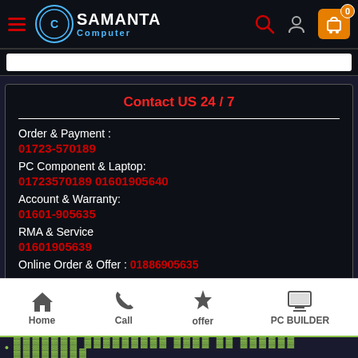[Figure (logo): Samanta Computer logo with circular icon, brand name SAMANTA and tagline Computer]
Contact US 24 / 7
Order & Payment :
01723-570189
PC Component & Laptop:
01723570189 01601905640
Account & Warranty:
01601-905635
RMA & Service
01601905639
Online Order & Offer : 01886905635
Home | Call | offer | PC BUILDER